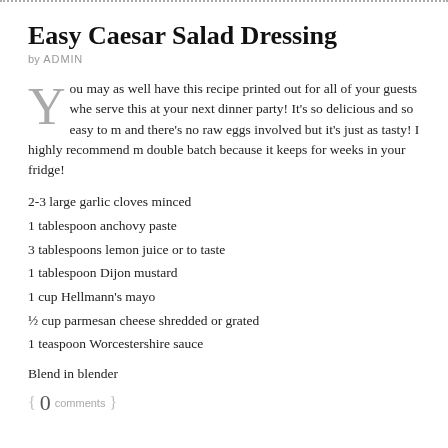Easy Caesar Salad Dressing
by ADMIN
You may as well have this recipe printed out for all of your guests when you serve this at your next dinner party!  It’s so delicious and so easy to make and there’s no raw eggs involved but it’s just as tasty!  I highly recommend making a double batch because it keeps for weeks in your fridge!
2-3 large garlic cloves minced
1 tablespoon anchovy paste
3 tablespoons lemon juice or to taste
1 tablespoon Dijon mustard
1 cup Hellmann’s mayo
½ cup parmesan cheese shredded or grated
1 teaspoon Worcestershire sauce
Blend in blender
{ 0 comments }